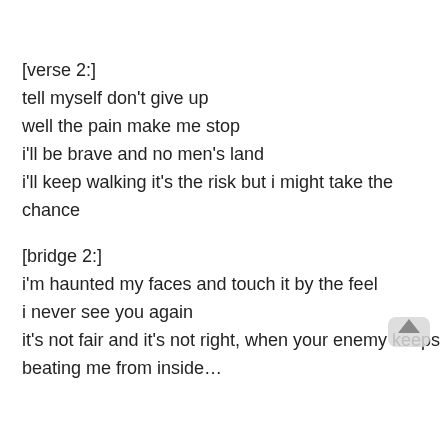[verse 2:]
tell myself don't give up
well the pain make me stop
i'll be brave and no men's land
i'll keep walking it's the risk but i might take the chance
[bridge 2:]
i'm haunted my faces and touch it by the feel
i never see you again
it's not fair and it's not right, when your enemy keeps
beating me from inside…